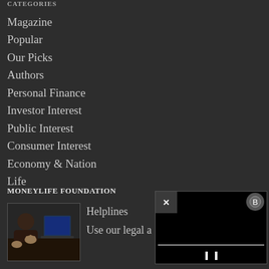CATEGORIES
Magazine
Popular
Our Picks
Authors
Personal Finance
Investor Interest
Public Interest
Consumer Interest
Economy & Nation
Life
MONEYLIFE FOUNDATION
[Figure (photo): Photo of people at a desk, hands visible, with a laptop]
Helplines
Use our legal a
[Figure (screenshot): Video player overlay with close button, pause controls, and progress bar]